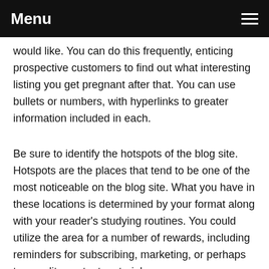Menu
would like. You can do this frequently, enticing prospective customers to find out what interesting listing you get pregnant after that. You can use bullets or numbers, with hyperlinks to greater information included in each.
Be sure to identify the hotspots of the blog site. Hotspots are the places that tend to be one of the most noticeable on the blog site. What you have in these locations is determined by your format along with your reader's studying routines. You could utilize the area for a number of rewards, including reminders for subscribing, marketing, or perhaps top quality content material.
It's important that you understand that there's far more that explores blogging that fits the eye. Hopefully,these tips have